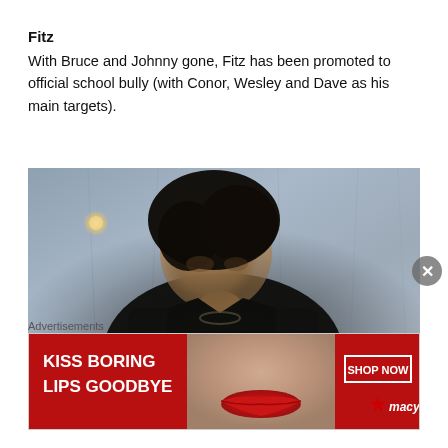Fitz
With Bruce and Johnny gone, Fitz has been promoted to official school bully (with Conor, Wesley and Dave as his main targets).
[Figure (photo): Photo of a young man with dark tousled hair wearing a black leather vest and a necklace, posed against a draped fabric backdrop with pendant lights visible in the background.]
Advertisements
[Figure (screenshot): Advertisement banner for Macy's lipstick product. Red background with white text reading 'KISS BORING LIPS GOODBYE' on the left, a woman's face with red lips in the center, and a 'SHOP NOW' button with the Macy's star logo on the right.]